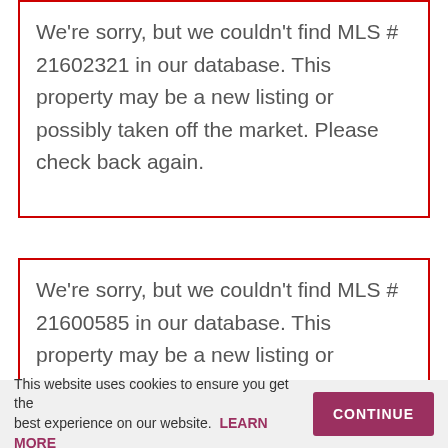We're sorry, but we couldn't find MLS # 21602321 in our database. This property may be a new listing or possibly taken off the market. Please check back again.
We're sorry, but we couldn't find MLS # 21600585 in our database. This property may be a new listing or possibly taken off the market. Please check back again.
Price Reductions none
Sale Pendings
This website uses cookies to ensure you get the best experience on our website. LEARN MORE